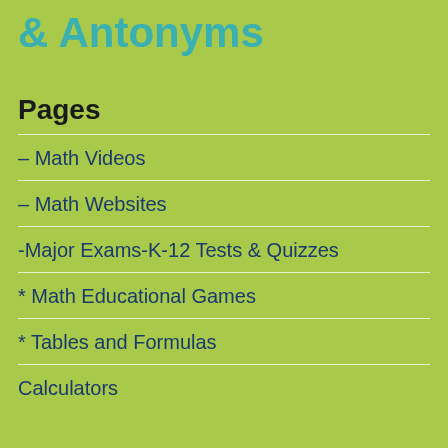& Antonyms
Pages
– Math Videos
– Math Websites
-Major Exams-K-12 Tests & Quizzes
* Math Educational Games
* Tables and Formulas
Calculators